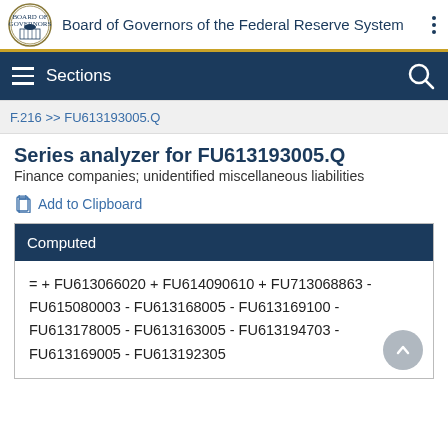Board of Governors of the Federal Reserve System
Sections
F.216 >> FU613193005.Q
Series analyzer for FU613193005.Q
Finance companies; unidentified miscellaneous liabilities
Add to Clipboard
| Computed |
| --- |
| = + FU613066020 + FU614090610 + FU713068863 - FU615080003 - FU613168005 - FU613169100 - FU613178005 - FU613163005 - FU613194703 - FU613169005 - FU613192305 |